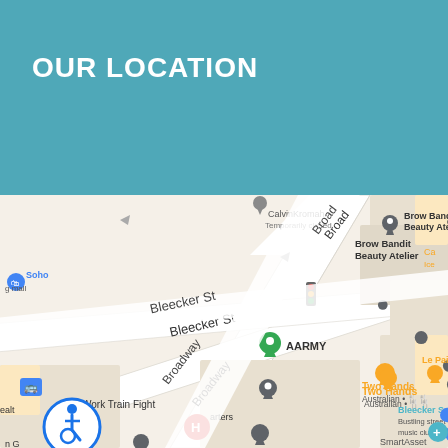OUR LOCATION
[Figure (map): Google Maps screenshot showing intersection of Broadway and Bleecker St in New York City. Visible locations include CalvinKromah (Temporarily closed), Brow Bandit Beauty Atelier, AARMY, Two Hands (Australian restaurant), GLOSSLAB, The UPS Store, SmartAsset, Work Train Fight, The Monacelli Press, Le Pain (partial), Bleecker S(treet description partial), Soho shopping mall. Street names: Broadway, Bleecker St, Broad(way partial at top). Various map pins visible in green, gray, orange, blue, red colors. Accessibility icon visible bottom left. Bus stop icon visible left side.]